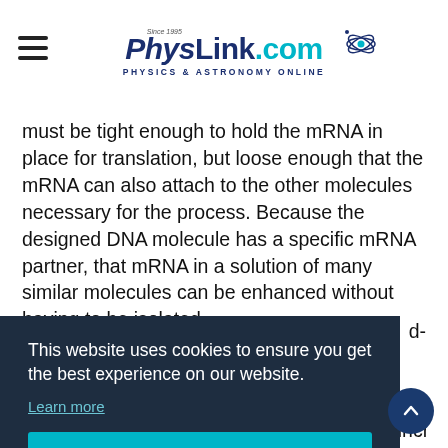PhysLink.com — PHYSICS & ASTRONOMY ONLINE
must be tight enough to hold the mRNA in place for translation, but loose enough that the mRNA can also attach to the other molecules necessary for the process. Because the designed DNA molecule has a specific mRNA partner, that mRNA in a solution of many similar molecules can be enhanced without having to be isolated.
This website uses cookies to ensure you get the best experience on our website.
Learn more
Got it!
nanotubes — tiny, hollow cylinders that are incredibly